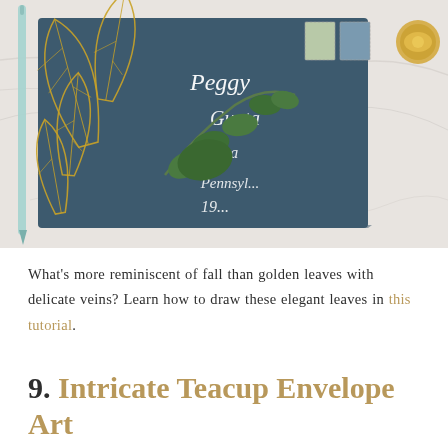[Figure (photo): A dark teal/slate blue envelope decorated with golden skeletal leaf prints lies on a white marble surface. White calligraphy script (addressing to Peggy Gupta in Pennsylvania) is written on the envelope. A sprig of fresh green leaves rests across the envelope. A light blue pen and a small gold paint pot are visible in the corners. Postage stamps appear in the top right corner.]
What's more reminiscent of fall than golden leaves with delicate veins? Learn how to draw these elegant leaves in this tutorial.
9. Intricate Teacup Envelope Art